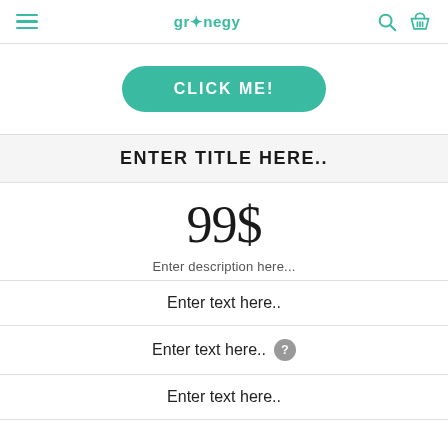grønegy (logo with hamburger menu, search, and basket icons)
[Figure (other): A teal rounded rectangle button with white uppercase text: CLICK ME!]
ENTER TITLE HERE..
99$
Enter description here...
Enter text here..
Enter text here..  (with help/question-mark icon)
Enter text here..